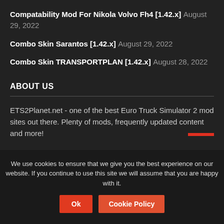Compatability Mod For Nikola Volvo Fh4 [1.42.x] August 29, 2022
Combo Skin Sarantos [1.42.x] August 29, 2022
Combo Skin TRANSPORTPLAN [1.42.x] August 28, 2022
ABOUT US
ETS2Planet.net - one of the best Euro Truck Simulator 2 mod sites out there. Plenty of mods, frequently updated content and more!
We use cookies to ensure that we give you the best experience on our website. If you continue to use this site we will assume that you are happy with it.